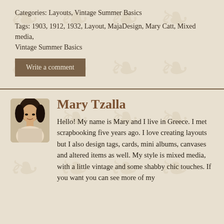Categories: Layouts, Vintage Summer Basics
Tags: 1903, 1912, 1932, Layout, MajaDesign, Mary Catt, Mixed media, Vintage Summer Basics
Write a comment
[Figure (photo): Portrait photo of Mary Tzalla, a woman with dark curly hair]
Mary Tzalla
Hello! My name is Mary and I live in Greece. I met scrapbooking five years ago. I love creating layouts but I also design tags, cards, mini albums, canvases and altered items as well. My style is mixed media, with a little vintage and some shabby chic touches. If you want you can see more of my